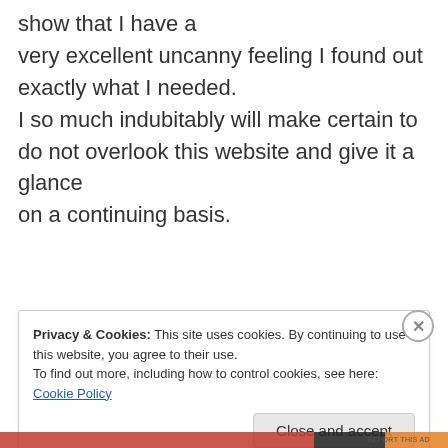show that I have a very excellent uncanny feeling I found out exactly what I needed. I so much indubitably will make certain to do not overlook this website and give it a glance on a continuing basis.
★ Like
REPORT THIS AD
Privacy & Cookies: This site uses cookies. By continuing to use this website, you agree to their use.
To find out more, including how to control cookies, see here: Cookie Policy
Close and accept